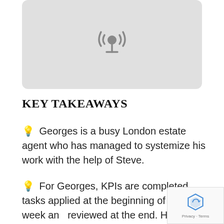[Figure (illustration): Podcast icon on light gray rounded rectangle background]
KEY TAKEAWAYS
💡 Georges is a busy London estate agent who has managed to systemize his work with the help of Steve.
💡 For Georges, KPIs are completed tasks applied at the beginning of the week and reviewed at the end. He based his KPIs on the core of his business – acquiring clients.